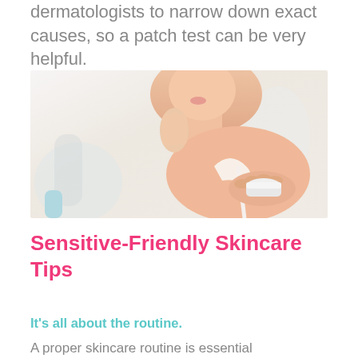dermatologists to narrow down exact causes, so a patch test can be very helpful.
[Figure (photo): Woman applying skincare cream to her face, holding a small white jar of moisturizer, bright white bathroom background]
Sensitive-Friendly Skincare Tips
It's all about the routine.
A proper skincare routine is essential